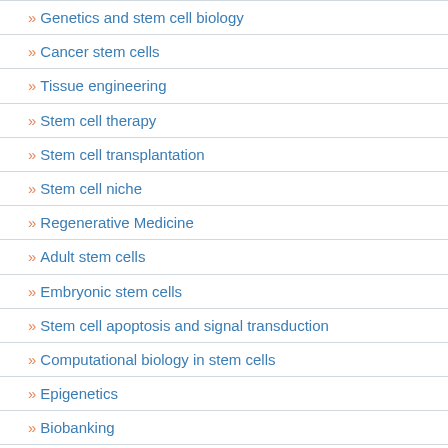» Genetics and stem cell biology
» Cancer stem cells
» Tissue engineering
» Stem cell therapy
» Stem cell transplantation
» Stem cell niche
» Regenerative Medicine
» Adult stem cells
» Embryonic stem cells
» Stem cell apoptosis and signal transduction
» Computational biology in stem cells
» Epigenetics
» Biobanking
» Biobank ethics
» Stem cell in drug development
» Cell and gene therapy